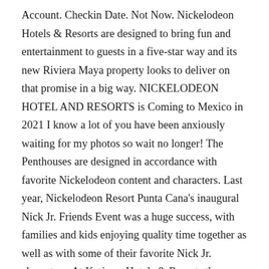Account. Checkin Date. Not Now. Nickelodeon Hotels & Resorts are designed to bring fun and entertainment to guests in a five-star way and its new Riviera Maya property looks to deliver on that promise in a big way. NICKELODEON HOTEL AND RESORTS is Coming to Mexico in 2021 I know a lot of you have been anxiously waiting for my photos so wait no longer! The Penthouses are designed in accordance with favorite Nickelodeon content and characters. Last year, Nickelodeon Resort Punta Cana's inaugural Nick Jr. Friends Event was a huge success, with families and kids enjoying quality time together as well as with some of their favorite Nick Jr. characters. At Karisma Hotels & Resorts the opening early summer of 2021 of Nickelodeon Hotels & Resorts Riviera Maya. Log In. Book your Nickelodeon Hotels And Resorts Punta Cana vacation package through Sunwing.ca — Vacations are easier Under Our Wing Checkout Date. or. Margaritaville Island Reserve Resorts El Dorado Spa Resorts Azul Beach Resorts El Cielo Winery & Resort Hidden Beach Au Naturel Resort Generations Riviera Maya